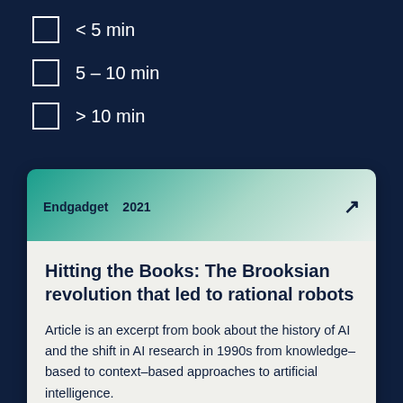< 5 min
5 – 10 min
> 10 min
Endgadget  2021
Hitting the Books: The Brooksian revolution that led to rational robots
Article is an excerpt from book about the history of AI and the shift in AI research in 1990s from knowledge–based to context–based approaches to artificial intelligence.